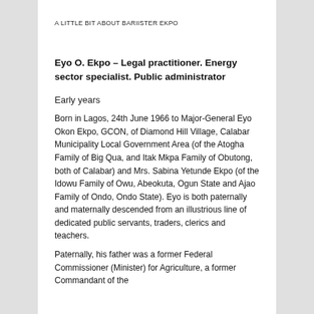A LITTLE BIT ABOUT BARIISTER EKPO
Eyo O. Ekpo – Legal practitioner. Energy sector specialist. Public administrator
Early years
Born in Lagos, 24th June 1966 to Major-General Eyo Okon Ekpo, GCON, of Diamond Hill Village, Calabar Municipality Local Government Area (of the Atogha Family of Big Qua, and Itak Mkpa Family of Obutong, both of Calabar) and Mrs. Sabina Yetunde Ekpo (of the Idowu Family of Owu, Abeokuta, Ogun State and Ajao Family of Ondo, Ondo State). Eyo is both paternally and maternally descended from an illustrious line of dedicated public servants, traders, clerics and teachers.
Paternally, his father was a former Federal Commissioner (Minister) for Agriculture, a former Commandant of the